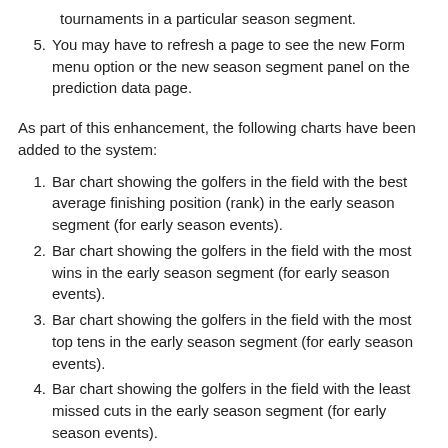tournaments in a particular season segment.
5. You may have to refresh a page to see the new Form menu option or the new season segment panel on the prediction data page.
As part of this enhancement, the following charts have been added to the system:
1. Bar chart showing the golfers in the field with the best average finishing position (rank) in the early season segment (for early season events).
2. Bar chart showing the golfers in the field with the most wins in the early season segment (for early season events).
3. Bar chart showing the golfers in the field with the most top tens in the early season segment (for early season events).
4. Bar chart showing the golfers in the field with the least missed cuts in the early season segment (for early season events).